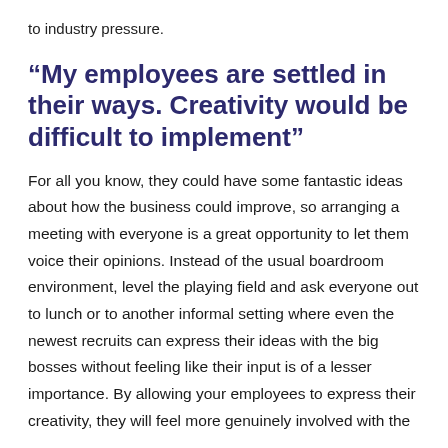to industry pressure.
“My employees are settled in their ways. Creativity would be difficult to implement”
For all you know, they could have some fantastic ideas about how the business could improve, so arranging a meeting with everyone is a great opportunity to let them voice their opinions. Instead of the usual boardroom environment, level the playing field and ask everyone out to lunch or to another informal setting where even the newest recruits can express their ideas with the big bosses without feeling like their input is of a lesser importance. By allowing your employees to express their creativity, they will feel more genuinely involved with the